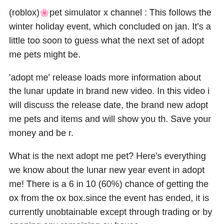(roblox) 🌸 pet simulator x channel : This follows the winter holiday event, which concluded on jan. It's a little too soon to guess what the next set of adopt me pets might be.
'adopt me' release loads more information about the lunar update in brand new video. In this video i will discuss the release date, the brand new adopt me pets and items and will show you th. Save your money and be r.
What is the next adopt me pet? Here's everything we know about the lunar new year event in adopt me! There is a 6 in 10 (60%) chance of getting the ox from the ox box.since the event has ended, it is currently unobtainable except through trading or by opening any remaining ox boxes.
See also  China New Year Background
Chinese new year 2021 is on friday, february 12, the first day of the year for the chinese lunar calendar also known as the lunar new